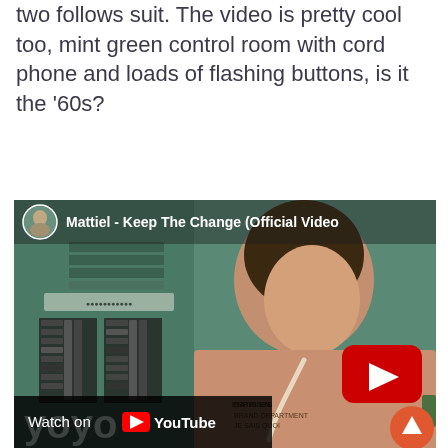two follows suit. The video is pretty cool too, mint green control room with cord phone and loads of flashing buttons, is it the '60s?
[Figure (screenshot): Embedded YouTube video thumbnail for 'Mattiel - Keep The Change (Official Video)'. Shows a woman in a peach/tan jacket holding a cord phone in a mint green vintage control room with buttons and panels. YouTube play button visible. 'Watch on YouTube' bar at bottom.]